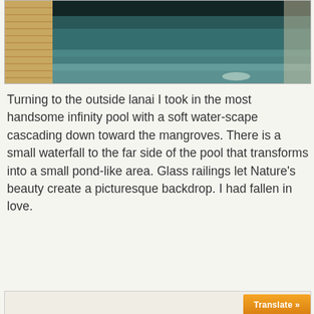[Figure (photo): Top portion of an infinity pool with dark water, tiled edges visible on the left, and greenery/mangroves in the background]
Turning to the outside lanai I took in the most handsome infinity pool with a soft water-scape cascading down toward the mangroves. There is a small waterfall to the far side of the pool that transforms into a small pond-like area. Glass railings let Nature's beauty create a picturesque backdrop. I had fallen in love.
[Figure (photo): Second photo placeholder — large light beige/off-white box representing a partially visible or loading photo below the body text, with an orange 'Translate »' button in the lower right corner]